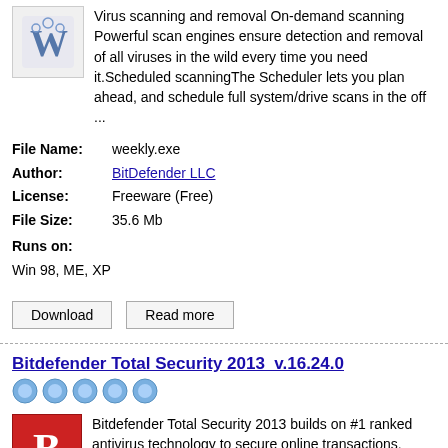Virus scanning and removal On-demand scanning Powerful scan engines ensure detection and removal of all viruses in the wild every time you need it.Scheduled scanningThe Scheduler lets you plan ahead, and schedule full system/drive scans in the off ...
| Field | Value |
| --- | --- |
| File Name: | weekly.exe |
| Author: | BitDefender LLC |
| License: | Freeware (Free) |
| File Size: | 35.6 Mb |
| Runs on: | Win 98, ME, XP |
Download   Read more
Bitdefender Total Security 2013  v.16.24.0
[Figure (other): 5 blue star rating icons]
Bitdefender Total Security 2013 builds on #1 ranked antivirus technology to secure online transactions, protect mobile devices from loss/theft, automatically back up files, and Tune-Up PCs.
| Field | Value |
| --- | --- |
| File Name: | bitdefender_tsecurity.exe |
| Author: | BitDefender LLC |
| License: | Demo ($69.95) |
| File Size: |  |